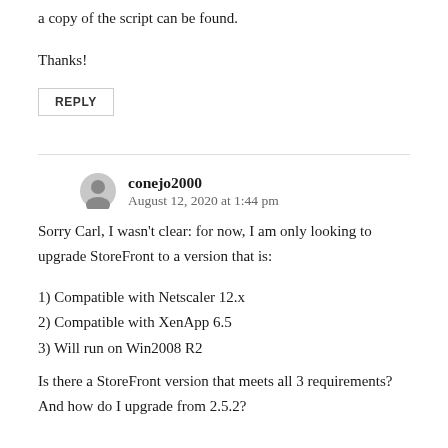a copy of the script can be found.
Thanks!
REPLY
conejo2000
August 12, 2020 at 1:44 pm
Sorry Carl, I wasn't clear: for now, I am only looking to upgrade StoreFront to a version that is:
1) Compatible with Netscaler 12.x
2) Compatible with XenApp 6.5
3) Will run on Win2008 R2
Is there a StoreFront version that meets all 3 requirements? And how do I upgrade from 2.5.2?